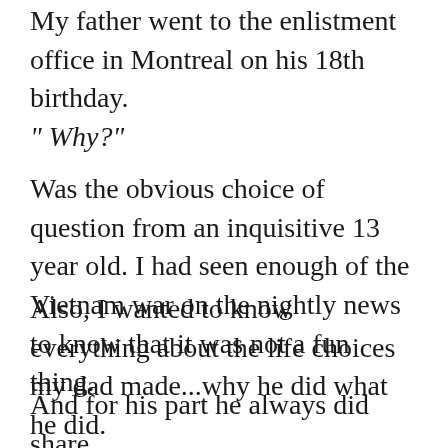My father went to the enlistment office in Montreal on his 18th birthday.
" Why?"
Was the obvious choice of question from an inquisitive 13 year old. I had seen enough of the Vietnam war on the nightly news to know that it was not a fun thing.
Also, I wanted to know everything about the life choices my dad made...why he did what he did.
And for his part he always did share.
He was always transparent with me. When he felt the query wasn't an age appropriate